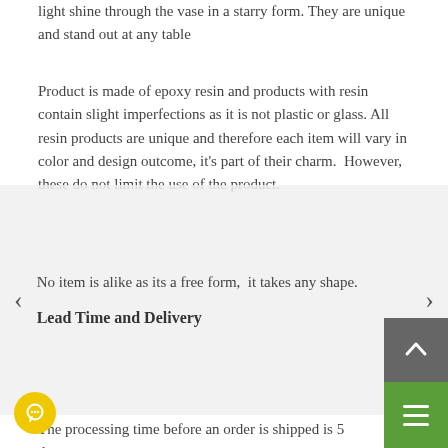light shine through the vase in a starry form. They are unique and stand out at any table
Product is made of epoxy resin and products with resin contain slight imperfections as it is not plastic or glass. All resin products are unique and therefore each item will vary in color and design outcome, it's part of their charm.  However, these do not limit the use of the product.
No item is alike as its a free form,  it takes any shape.
Lead Time and Delivery
The processing time before an order is shipped is 5 days
Product Care Instructions
Please avoid placing the vase near bright windows direct UV/sunlight; it can result in any clear resin in